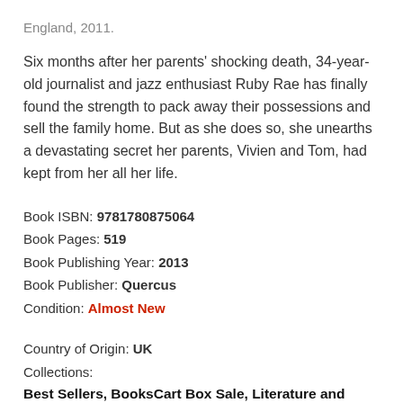England, 2011.
Six months after her parents' shocking death, 34-year-old journalist and jazz enthusiast Ruby Rae has finally found the strength to pack away their possessions and sell the family home. But as she does so, she unearths a devastating secret her parents, Vivien and Tom, had kept from her all her life.
Book ISBN: 9781780875064
Book Pages: 519
Book Publishing Year: 2013
Book Publisher: Quercus
Condition: Almost New
Country of Origin: UK
Collections:
Best Sellers, BooksCart Box Sale, Literature and Fiction, Most Rated, Prime Books, Romance, Rosanna Ley,